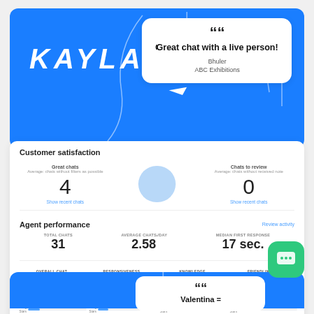[Figure (infographic): Blue banner with KAYLA branding and speech bubble testimonial saying 'Great chat with a live person!' from Bhuler, ABC Exhibitions]
"Great chat with a live person!"
Bhuler
ABC Exhibitions
Customer satisfaction
Great chats
Average: chats without filters as possible
4
Chats to review
Average: chats without received note
0
Agent performance
Review activity
TOTAL CHATS
31
AVERAGE CHATS/DAY
2.58
MEDIAN FIRST RESPONSE
17 sec.
OVERALL CHAT
★★★★★
Average: 5
Median: 4.7/5
RESPONSIVENESS
★★★★★
Average: 5
Median: 4.3/5
KNOWLEDGE
★★★★★
Average: 5
Median: 4.7/5
FRIENDLINESS
★★★★★
Average: 5
Median: 4.7/5
[Figure (infographic): Bottom partial blue section with speech bubble showing 'Valentina =' text and green chat widget button]
Valentina =